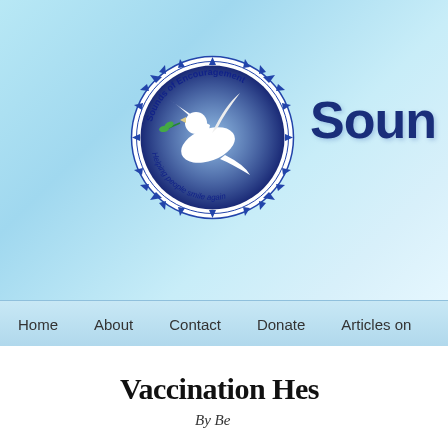[Figure (logo): Sounds of Encouragement circular logo with a white dove holding a green olive branch, blue decorative border with text 'Sounds of Encouragement' and 'Helping people smile again']
Soun
Home   About   Contact   Donate   Articles on
Vaccination Hes
By Be